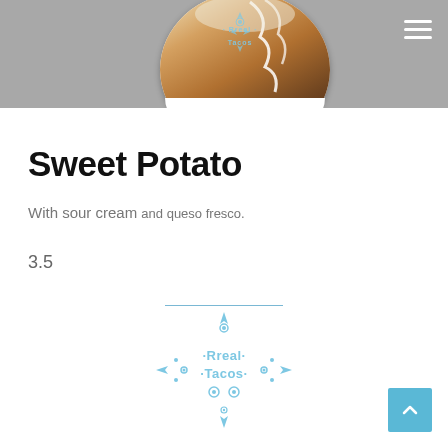[Figure (photo): Header area with food photo (bowl with cream drizzle) on gray background, with Rreal Tacos logo overlay]
Sweet Potato
With sour cream and queso fresco.
3.5
[Figure (logo): Rreal Tacos decorative logo in light blue, diamond-shaped ornamental design with text]
[Figure (other): Back to top button, light blue square with upward chevron arrow]